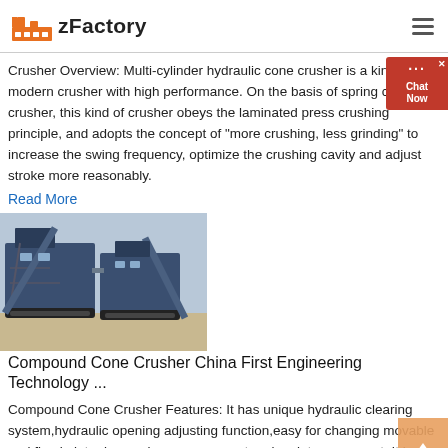zFactory
Crusher Overview: Multi-cylinder hydraulic cone crusher is a kind of modern crusher with high performance. On the basis of spring cone crusher, this kind of crusher obeys the laminated press crushing principle, and adopts the concept of "more crushing, less grinding" to increase the swing frequency, optimize the crushing cavity and adjust stroke more reasonably.
Read More
[Figure (photo): Compound cone crusher machine in industrial yard, blue heavy machinery on tracks]
Compound Cone Crusher China First Engineering Technology ...
Compound Cone Crusher Features: It has unique hydraulic clearing system,hydraulic opening adjusting function,easy for changing movable and fixed plate,decreasing management and maintenance cost. It is widely used for medium and fine crushing of